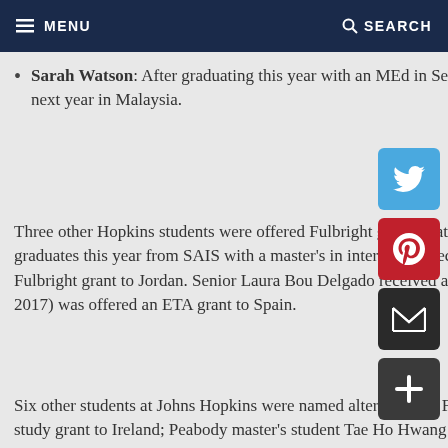MENU  SEARCH
Sarah Watson: After graduating this year with an MEd in Secondary Mathematics Education, she will spend next year in Malaysia.
Three other Hopkins students were offered Fulbright grants that they declined for other opportunities. Caper Gooden, who graduates this year from SAIS with a master's in international economics and Middle Eastern Studies, was offered a Fulbright grant to Jordan. Senior Laura Bou Delgado received an ETA grant to Moldova. Mollie Cueva-Dabkoski (KSAS 2017) was offered an ETA grant to Spain.
Six other students at Johns Hopkins were named alternates for Fulbright grants this year: senior Esther Rodriguez for a study grant to Ireland; Peabody master's student Tae Ho Hwang for an arts grant to the Netherlands;